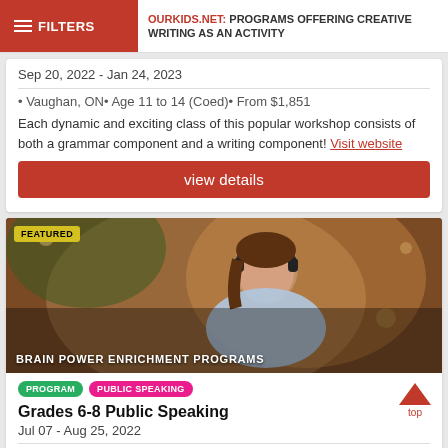OURKIDS.NET: PROGRAMS OFFERING CREATIVE WRITING AS AN ACTIVITY
Sep 20, 2022 - Jan 24, 2023
• Vaughan, ON• Age 11 to 14 (Coed)• From $1,851
Each dynamic and exciting class of this popular workshop consists of both a grammar component and a writing component! Visit website
view details
[Figure (photo): Young woman with headphones studying, featured image for Brain Power Enrichment Programs]
BRAIN POWER ENRICHMENT PROGRAMS
PROGRAM  PUBLIC SPEAKING
Grades 6-8 Public Speaking
Jul 07 - Aug 25, 2022
• Hamilton, ON• Age 11 to 13 (Coed)• From $489